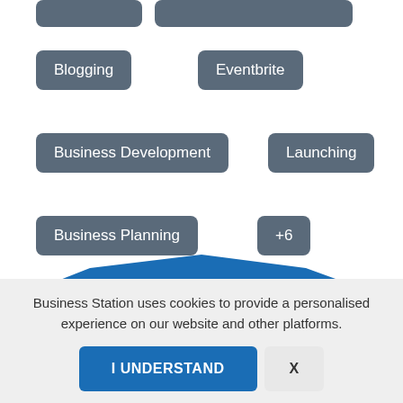[Figure (screenshot): Partial top row with two grey tag/pill buttons partially visible at top of page]
Blogging
Eventbrite
Business Development
Launching
Business Planning
+6
[Figure (illustration): Blue triangular/roof shape graphic spanning full width]
Business Station uses cookies to provide a personalised experience on our website and other platforms.
I UNDERSTAND
X